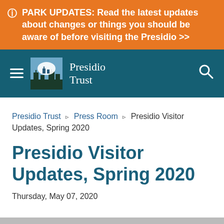ℹ PARK UPDATES: Read the latest updates about changes or things you should be aware of before visiting the Presidio >>
[Figure (logo): Presidio Trust navigation bar with hamburger menu, logo, and search icon]
Presidio Trust › Press Room › Presidio Visitor Updates, Spring 2020
Presidio Visitor Updates, Spring 2020
Thursday, May 07, 2020